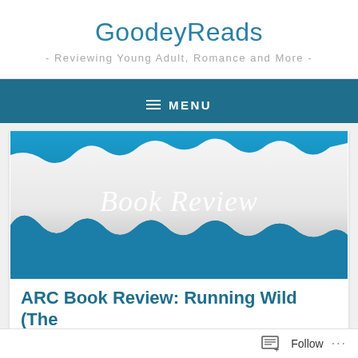GoodeyReads
- Reviewing Young Adult, Romance and More -
≡ MENU
[Figure (illustration): Book Review banner image with torn paper effect on blue background and white cursive text reading 'Book Review']
ARC Book Review: Running Wild (The